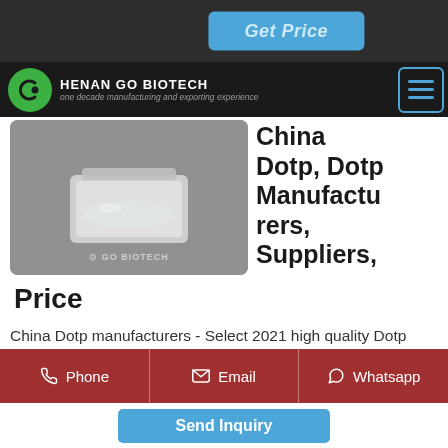[Figure (screenshot): Get Price button on dark background header bar]
[Figure (logo): Henan Go Biotech logo — green circle with stylized C, company name and tagline 'one decade manufacturing and exporting experience']
[Figure (photo): Product photo of a glass jar containing a clear liquid (DOTP), with watermark 'GO BIOTECH']
China Dotp, Dotp Manufacturers, Suppliers, Price
Price
China Dotp manufacturers - Select 2021 high quality Dotp products in best price from certified Chinese Dioctyl Terephthalate Dotp manufacturers, Dioctyl Terephthalate/dotp
[Figure (infographic): Contact bar with Phone, Email, and Whatsapp buttons on red/brown background]
[Figure (infographic): Send Inquiry button in blue]